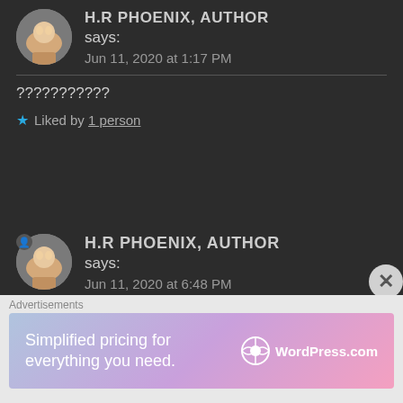[Figure (illustration): Circular avatar image of a cat paw held in a hand, partially visible at top]
H.R PHOENIX, AUTHOR says:
Jun 11, 2020 at 1:17 PM
???????????
★ Liked by 1 person
[Figure (illustration): Circular avatar image of a cat paw held in a hand with a small badge icon]
H.R PHOENIX, AUTHOR says:
Jun 11, 2020 at 6:48 PM
😄😄
Yeah, I just figured that out
[Figure (screenshot): WordPress.com advertisement banner: Simplified pricing for everything you need.]
Advertisements